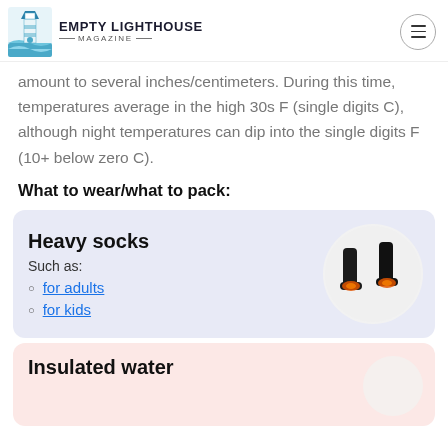EMPTY LIGHTHOUSE MAGAZINE
amount to several inches/centimeters. During this time, temperatures average in the high 30s F (single digits C), although night temperatures can dip into the single digits F (10+ below zero C).
What to wear/what to pack:
[Figure (infographic): Blue card with Heavy socks heading, Such as: label, links for adults and for kids, and circular image of black heated socks with orange glow on soles]
[Figure (infographic): Pink card with Insulated water heading, partially visible at bottom of page]